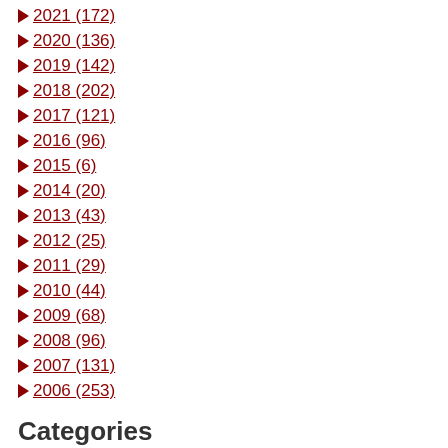► 2021 (172)
► 2020 (136)
► 2019 (142)
► 2018 (202)
► 2017 (121)
► 2016 (96)
► 2015 (6)
► 2014 (20)
► 2013 (43)
► 2012 (25)
► 2011 (29)
► 2010 (44)
► 2009 (68)
► 2008 (96)
► 2007 (131)
► 2006 (253)
Categories